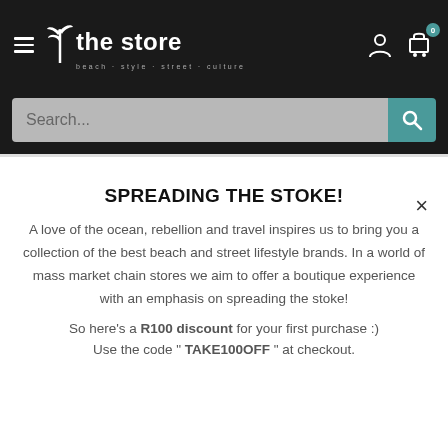[Figure (screenshot): Website navigation bar with hamburger menu, 'the store' logo with palm tree icon and tagline 'beach · style · street · culture', user account icon, and shopping cart icon with badge showing 0]
[Figure (screenshot): Search bar with light gray input field showing placeholder text 'Search...' and teal search button with magnifying glass icon]
×
SPREADING THE STOKE!
A love of the ocean, rebellion and travel inspires us to bring you a collection of the best beach and street lifestyle brands. In a world of mass market chain stores we aim to offer a boutique experience with an emphasis on spreading the stoke!
So here's a R100 discount for your first purchase :)
Use the code " TAKE100OFF " at checkout.